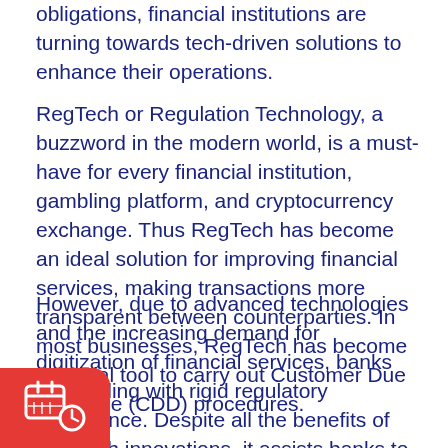obligations, financial institutions are turning towards tech-driven solutions to enhance their operations.
RegTech or Regulation Technology, a buzzword in the modern world, is a must-have for every financial institution, gambling platform, and cryptocurrency exchange. Thus RegTech has become an ideal solution for improving financial services, making transactions more transparent between counterparties. In most businesses, RegTech has become a crucial tool to carry out Customer Due Diligence (CDD) procedures.
However, due to advanced technologies and the increasing demand for digitization of financial services, banks are dealing with rigid regulatory compliance. Despite all the benefits of RegTech innovations, it assists banks to comply with compliance seamlessly.
[Figure (illustration): Red rounded rectangle badge with a calendar/clock icon in white at the bottom-left corner of the page]